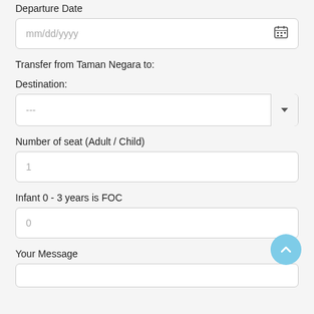Departure Date
[Figure (screenshot): Date input field with mm/dd/yyyy placeholder and calendar icon]
Transfer from Taman Negara to:
Destination:
[Figure (screenshot): Dropdown select input field with --- placeholder and down arrow button]
Number of seat (Adult / Child)
[Figure (screenshot): Number input field with value 1]
Infant 0 - 3 years is FOC
[Figure (screenshot): Number input field with value 0]
Your Message
[Figure (screenshot): Textarea input field, empty]